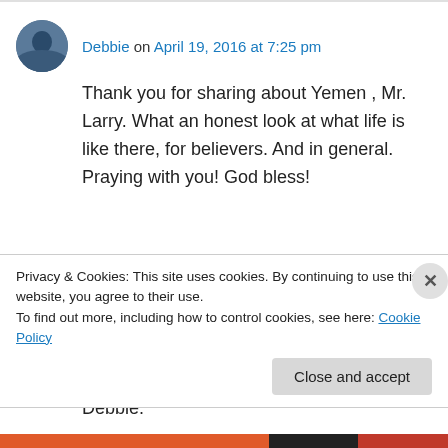Debbie on April 19, 2016 at 7:25 pm
Thank you for sharing about Yemen , Mr. Larry. What an honest look at what life is like there, for believers. And in general. Praying with you! God bless!
Larry Who on April 19, 2016 at 7:46 pm
Debbie.
Privacy & Cookies: This site uses cookies. By continuing to use this website, you agree to their use.
To find out more, including how to control cookies, see here: Cookie Policy